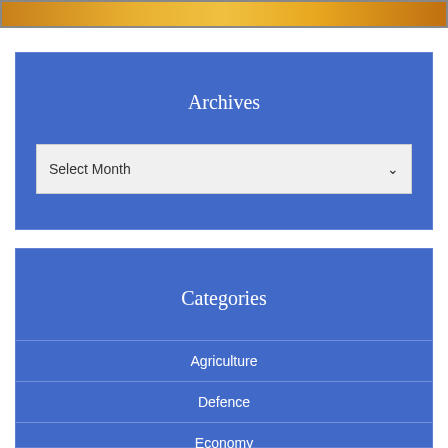[Figure (photo): Top decorative banner strip with gold/orange gradient colors]
Archives
Select Month
Categories
Agriculture
Defence
Economy